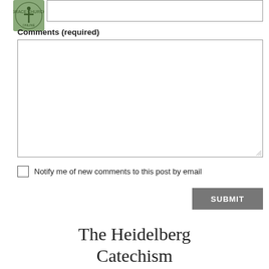[Figure (logo): Circular green logo with a cross/tree symbol in the center]
Comments (required)
Notify me of new comments to this post by email
SUBMIT
The Heidelberg Catechism